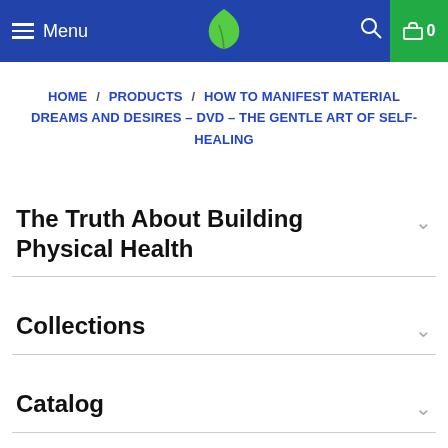Menu | [leaf logo] | [search icon] | 0
HOME / PRODUCTS / HOW TO MANIFEST MATERIAL DREAMS AND DESIRES – DVD – THE GENTLE ART OF SELF-HEALING
The Truth About Building Physical Health
Collections
Catalog